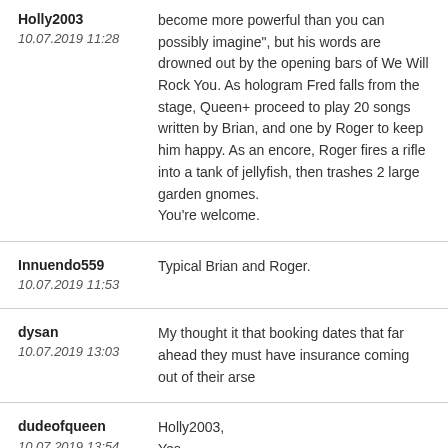Holly2003
10.07.2019 11:28
become more powerful than you can possibly imagine", but his words are drowned out by the opening bars of We Will Rock You. As hologram Fred falls from the stage, Queen+ proceed to play 20 songs written by Brian, and one by Roger to keep him happy. As an encore, Roger fires a rifle into a tank of jellyfish, then trashes 2 large garden gnomes.
You're welcome.
Innuendo559
10.07.2019 11:53
Typical Brian and Roger.
dysan
10.07.2019 13:03
My thought it that booking dates that far ahead they must have insurance coming out of their arse
dudeofqueen
10.07.2019 13:54
Holly2003,
Yes.
Featuring support act Kerry Ellis on all global dates in support of the forthcoming album